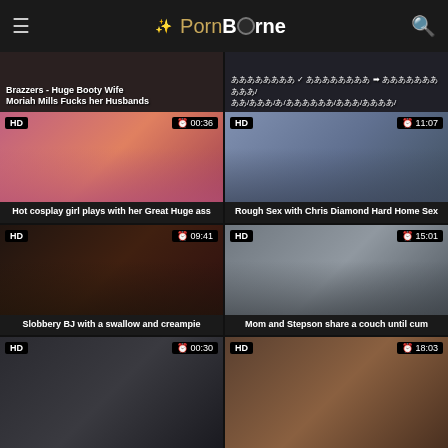PornBorne
Brazzers - Huge Booty Wife Moriah Mills Fucks her Husbands
[non-latin text]
[Figure (photo): Video thumbnail - Hot cosplay girl plays with her Great Huge ass, HD badge, duration 00:36]
Hot cosplay girl plays with her Great Huge ass
[Figure (photo): Video thumbnail - Rough Sex with Chris Diamond Hard Home Sex, HD badge, duration 11:07]
Rough Sex with Chris Diamond Hard Home Sex
[Figure (photo): Video thumbnail - Slobbery BJ with a swallow and creampie, HD badge, duration 09:41]
Slobbery BJ with a swallow and creampie
[Figure (photo): Video thumbnail - Mom and Stepson share a couch until cum, HD badge, duration 15:01]
Mom and Stepson share a couch until cum
[Figure (photo): Video thumbnail partial - HD badge, duration 00:30]
[Figure (photo): Video thumbnail partial - HD badge, duration 18:03]